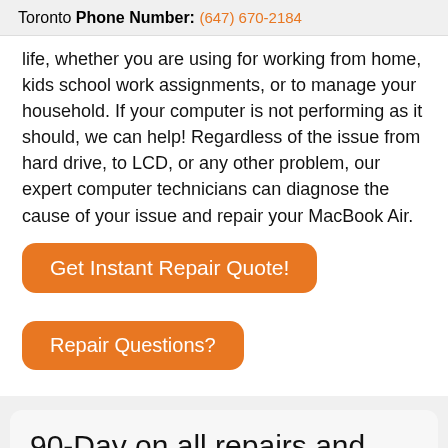Toronto Phone Number: (647) 670-2184
life, whether you are using for working from home, kids school work assignments, or to manage your household. If your computer is not performing as it should, we can help! Regardless of the issue from hard drive, to LCD, or any other problem, our expert computer technicians can diagnose the cause of your issue and repair your MacBook Air.
Get Instant Repair Quote!
Repair Questions?
90-Day on all repairs and